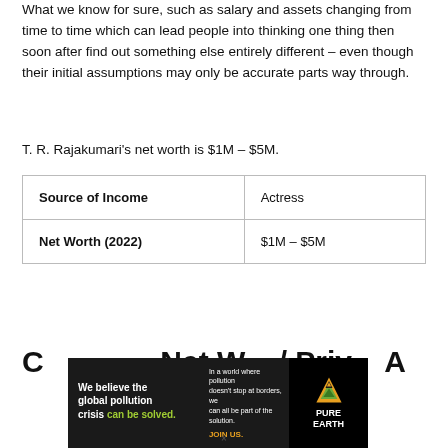What we know for sure, such as salary and assets changing from time to time which can lead people into thinking one thing then soon after find out something else entirely different – even though their initial assumptions may only be accurate parts way through.
T. R. Rajakumari's net worth is $1M – $5M.
| Source of Income | Actress |
| Net Worth (2022) | $1M – $5M |
Current Net Worth / Salary...
[Figure (other): Pure Earth advertisement banner: 'We believe the global pollution crisis can be solved. In a world where pollution doesn't stop at borders, we can all be part of the solution. JOIN US.' with Pure Earth logo.]